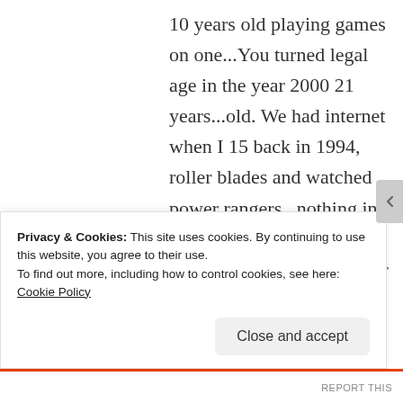10 years old playing games on one...You turned legal age in the year 2000 21 years...old. We had internet when I 15 back in 1994, roller blades and watched power rangers...nothing in common with someone from 1964 its a whole other
Privacy & Cookies: This site uses cookies. By continuing to use this website, you agree to their use. To find out more, including how to control cookies, see here: Cookie Policy
Close and accept